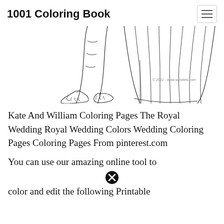1001 Coloring Book
[Figure (illustration): Line drawing coloring page showing the lower half of two figures — a man in military/formal shoes and trousers on the left, and a woman in a long flowing wedding dress/gown on the right. Small copyright watermark visible: © 2011 - www.sdhotels.com]
Kate And William Coloring Pages The Royal Wedding Royal Wedding Colors Wedding Coloring Pages Coloring Pages From pinterest.com
You can use our amazing online tool to color and edit the following Printable...